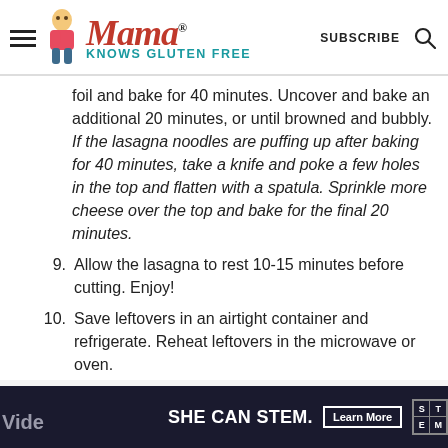Mama Knows Gluten Free - SUBSCRIBE
foil and bake for 40 minutes. Uncover and bake an additional 20 minutes, or until browned and bubbly. If the lasagna noodles are puffing up after baking for 40 minutes, take a knife and poke a few holes in the top and flatten with a spatula. Sprinkle more cheese over the top and bake for the final 20 minutes.
9. Allow the lasagna to rest 10-15 minutes before cutting. Enjoy!
10. Save leftovers in an airtight container and refrigerate. Reheat leftovers in the microwave or oven.
[Figure (other): Advertisement banner: SHE CAN STEM. Learn More button with STEM grid logo and ad council logo on dark background.]